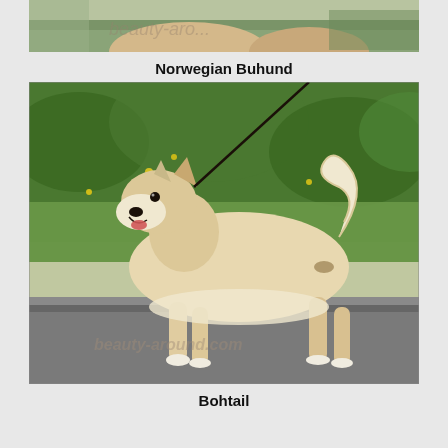[Figure (photo): Partial top image of a dog in an outdoor setting, cropped at the top of the page]
Norwegian Buhund
[Figure (photo): A Norwegian Buhund dog standing on a paved surface, facing left, on a leash, with a green grassy background. The dog has cream/light tan coloring with a curled tail. Watermark reads beauty-around.com]
Bohtail